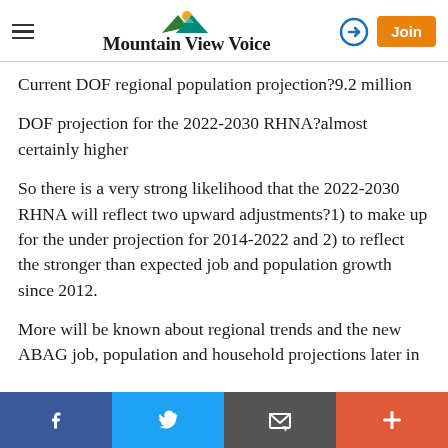Mountain View Voice
Current DOF regional population projection?9.2 million
DOF projection for the 2022-2030 RHNA?almost certainly higher
So there is a very strong likelihood that the 2022-2030 RHNA will reflect two upward adjustments?1) to make up for the under projection for 2014-2022 and 2) to reflect the stronger than expected job and population growth since 2012.
More will be known about regional trends and the new ABAG job, population and household projections later in